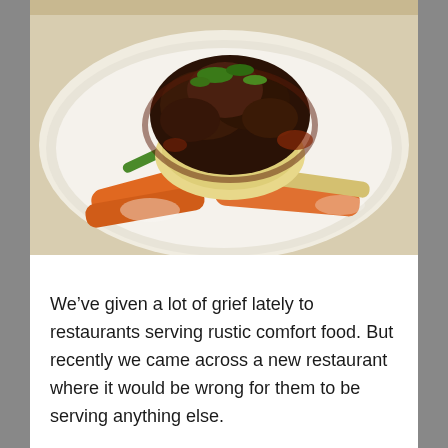[Figure (photo): A plated restaurant dish showing braised meat with dark sauce and herbs on top of mashed potato, surrounded by carrots, green beans, and other vegetables on a white plate.]
We’ve given a lot of grief lately to restaurants serving rustic comfort food. But recently we came across a new restaurant where it would be wrong for them to be serving anything else.